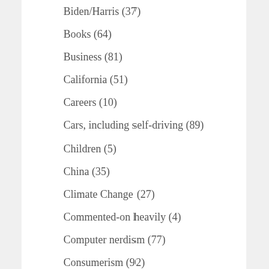Biden/Harris (37)
Books (64)
Business (81)
California (51)
Careers (10)
Cars, including self-driving (89)
Children (5)
China (35)
Climate Change (27)
Commented-on heavily (4)
Computer nerdism (77)
Consumerism (92)
Coronaplague (672)
Contra... (9)